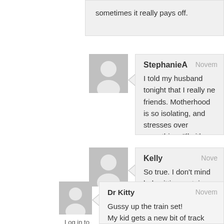sometimes it really pays off.
StephanieA — I told my husband tonight that I really ne friends. Motherhood is so isolating, and stresses over everything, I'll either go cr screw it and letting my kids run wild, hal
Kelly — So true. I don't mind babysitting certain play together and leave me alone and I
Dr Kitty — Gussy up the train set! My kid gets a new bit of track and some new mountain, farm, loading docks, timber yard) Christmas from my parents. Her train set is